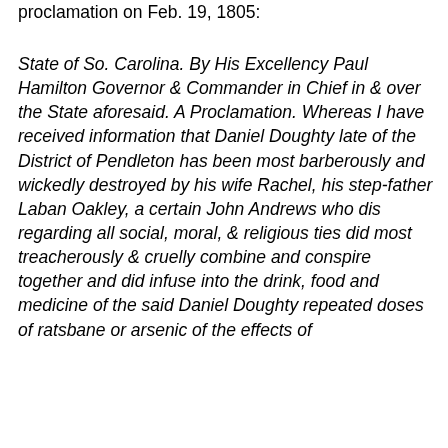proclamation on Feb. 19, 1805:
State of So. Carolina. By His Excellency Paul Hamilton Governor & Commander in Chief in & over the State aforesaid. A Proclamation. Whereas I have received information that Daniel Doughty late of the District of Pendleton has been most barberously and wickedly destroyed by his wife Rachel, his step-father Laban Oakley, a certain John Andrews who dis regarding all social, moral, & religious ties did most treacherously & cruelly combine and conspire together and did infuse into the drink, food and medicine of the said Daniel Doughty repeated doses of ratsbane or arsenic of the effects of